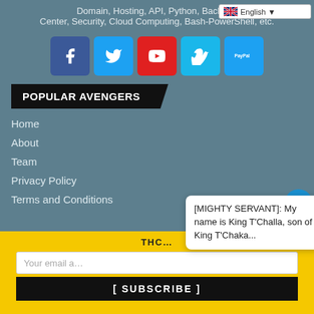Domain, Hosting, API, Python, Backup, Media Center, Security, Cloud Computing, Bash-PowerShell, etc.
[Figure (screenshot): English language selector dropdown in top right]
[Figure (infographic): Row of social media icons: Facebook (blue), Twitter (light blue), YouTube (red), Vimeo (light blue), PayPal (light blue)]
POPULAR AVENGERS
Home
About
Team
Privacy Policy
Terms and Conditions
[Figure (infographic): Right side floating social icons: headphones, Facebook, Twitter, WhatsApp]
[MIGHTY SERVANT]: My name is King T'Challa, son of King T'Chaka...
THC...
Your email a...
[ SUBSCRIBE ]